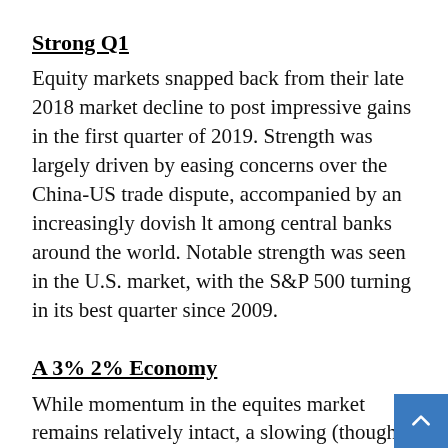Strong Q1
Equity markets snapped back from their late 2018 market decline to post impressive gains in the first quarter of 2019. Strength was largely driven by easing concerns over the China-US trade dispute, accompanied by an increasingly dovish lt among central banks around the world. Notable strength was seen in the U.S. market, with the S&P 500 turning in its best quarter since 2009.
A 3% 2% Economy
While momentum in the equites market remains relatively intact, a slowing (though sll growing) economy underlies our view. As the effects of 2018